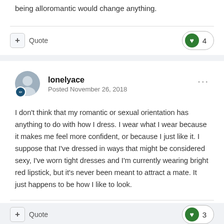being alloromantic would change anything.
+ Quote   ♥ 4
lonelyace
Posted November 26, 2018
I don't think that my romantic or sexual orientation has anything to do with how I dress. I wear what I wear because it makes me feel more confident, or because I just like it. I suppose that I've dressed in ways that might be considered sexy, I've worn tight dresses and I'm currently wearing bright red lipstick, but it's never been meant to attract a mate. It just happens to be how I like to look.
+ Quote   ♥ 3